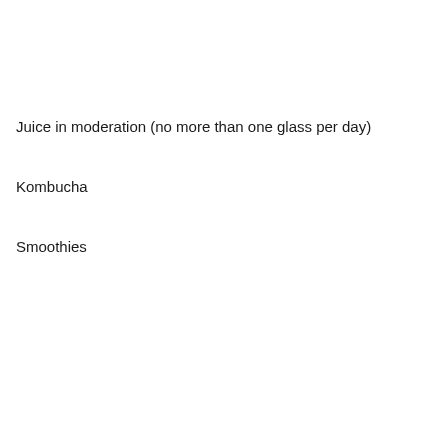Juice in moderation (no more than one glass per day)
Kombucha
Smoothies